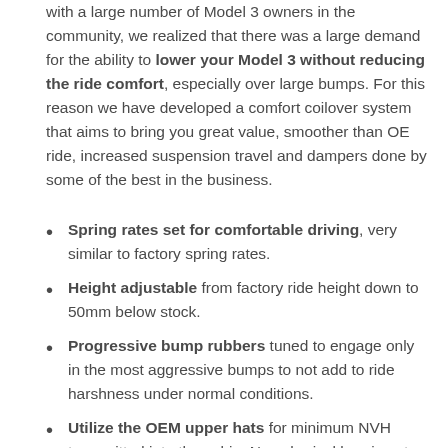with a large number of Model 3 owners in the community, we realized that there was a large demand for the ability to lower your Model 3 without reducing the ride comfort, especially over large bumps. For this reason we have developed a comfort coilover system that aims to bring you great value, smoother than OE ride, increased suspension travel and dampers done by some of the best in the business.
Spring rates set for comfortable driving, very similar to factory spring rates.
Height adjustable from factory ride height down to 50mm below stock.
Progressive bump rubbers tuned to engage only in the most aggressive bumps to not add to ride harshness under normal conditions.
Utilize the OEM upper hats for minimum NVH transmitted into the cabin. No spherical bearings to clunk and transmit road noise!